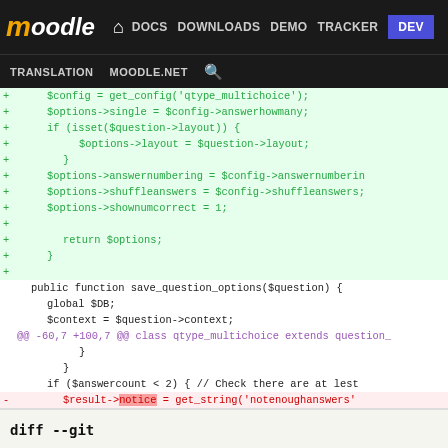moodle | DOCS | DOWNLOADS | DEMO | TRACKER | DEV | TRANSLATION | MOODLE.NET | search
[Figure (screenshot): Moodle developer site navigation bar with logo, DOCS, DOWNLOADS, DEMO, TRACKER, DEV (highlighted in blue), TRANSLATION, MOODLE.NET, and search icon on dark background]
Code diff view showing PHP code for qtype_multichoice plugin with added lines (+) in green and diff hunk marker, including save_question_options function and answercount check with notice changed to error
diff --git